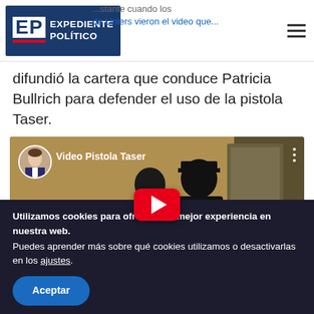Expediente Político
difundió la cartera que conduce Patricia Bullrich para defender el uso de la pistola Taser.
[Figure (screenshot): YouTube video thumbnail titled 'Video Pistola Taser' showing two people in black uniforms, with a red play button overlay and a circular avatar of a man in a suit.]
Utilizamos cookies para ofrecerte la mejor experiencia en nuestra web.
Puedes aprender más sobre qué cookies utilizamos o desactivarlas en los ajustes.
Aceptar